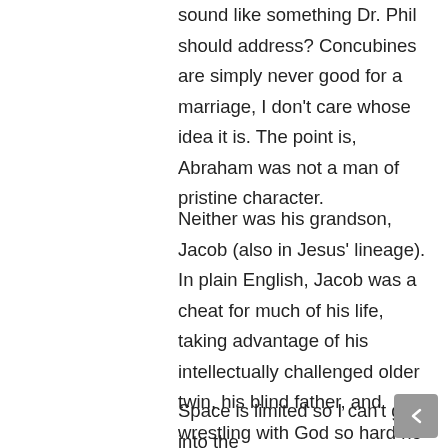sound like something Dr. Phil should address? Concubines are simply never good for a marriage, I don't care whose idea it is. The point is, Abraham was not a man of pristine character.
Neither was his grandson, Jacob (also in Jesus' lineage). In plain English, Jacob was a cheat for much of his life, taking advantage of his intellectually challenged older twin, his blind father, and wrestling with God so hard he came out with a limp. This is not the kind of guy you want to discover in your family on ancestry.com.
Space is limited so I can't go into the misdeeds of David (adultery and murder)